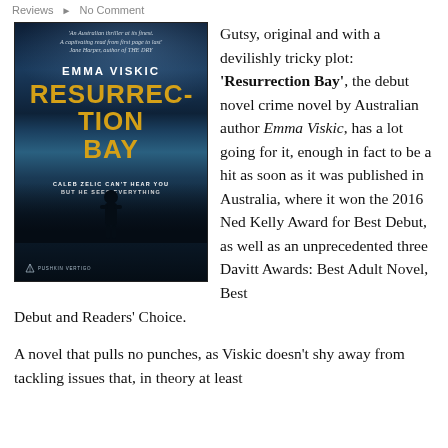Reviews  No Comment
[Figure (photo): Book cover of 'Resurrection Bay' by Emma Viskic. Dark moody cover with a lone figure on a beach, stormy cloudy sky, title in yellow, author name in white. Published by Pushkin Vertigo. Quote: 'An Australian thriller at its finest. A captivating read from first page to last' Jane Harper, author of THE DRY. Tagline: CALEB ZELIC CAN'T HEAR YOU BUT HE SEES EVERYTHING.]
Gutsy, original and with a devilishly tricky plot: 'Resurrection Bay', the debut novel crime novel by Australian author Emma Viskic, has a lot going for it, enough in fact to be a hit as soon as it was published in Australia, where it won the 2016 Ned Kelly Award for Best Debut, as well as an unprecedented three Davitt Awards: Best Adult Novel, Best Debut and Readers' Choice.
A novel that pulls no punches, as Viskic doesn't shy away from tackling issues that, in theory at least...